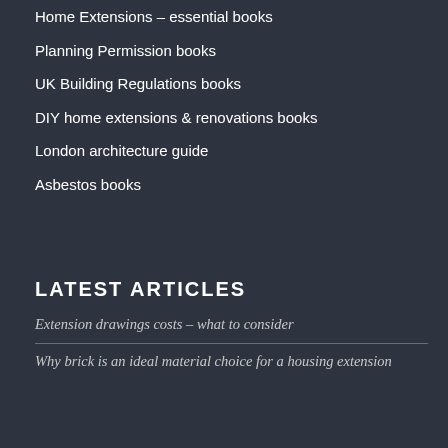Home Extensions – essential books
Planning Permission books
UK Building Regulations books
DIY home extensions & renovations books
London architecture guide
Asbestos books
LATEST ARTICLES
Extension drawings costs – what to consider
Why brick is an ideal material choice for a housing extension